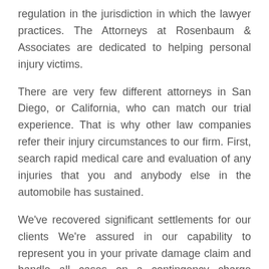regulation in the jurisdiction in which the lawyer practices. The Attorneys at Rosenbaum & Associates are dedicated to helping personal injury victims.
There are very few different attorneys in San Diego, or California, who can match our trial experience. That is why other law companies refer their injury circumstances to our firm. First, search rapid medical care and evaluation of any injuries that you and anybody else in the automobile has sustained.
We've recovered significant settlements for our clients We're assured in our capability to represent you in your private damage claim and handle all cases on a contingency charge foundation. Once you have narrowed it right down to a couple of attorneys, it is time ... Read More